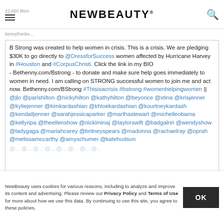22,650 likes — NEWBEAUTY® — bennyfranke...
B Strong was created to help women in crisis. This is a crisis. We are pledging $30K to go directly to @DressforSuccess women affected by Hurricane Harvey in #Houston and #CorpusChristi. Click the link in my BIO - Bethenny.com/Bstrong - to donate and make sure help goes immediately to women in need. I am calling on STRONG successful women to join me and act now. Bethenny.com/BStrong #Thisisacrisis #bstrong #womenhelpingwomen || @jlo @parishilton @nickyhilton @kathyhilton @beyonce @xtina @krisjenner @kyliejenner @kimkardashian @khloekardashian @kourtneykardash @kendalljenner @sarahjessicaparker @marthastewart @michelleobama @kellyripa @theellenshow @nickiminaj @taylorswift @badgalriri @wendyshow @ladygaga @mariahcarey @britneyspears @madonna @rachaelray @oprah @melissamccarthy @amyschumer @katehudson
NewBeauty uses cookies for various reasons, including to analyze and improve its content and advertising. Please review our Privacy Policy and Terms of Use for more about how we use this data. By continuing to use this site, you agree to these policies.